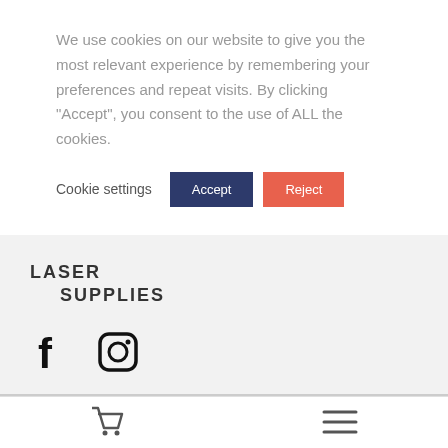We use cookies on our website to give you the most relevant experience by remembering your preferences and repeat visits. By clicking “Accept”, you consent to the use of ALL the cookies.
Cookie settings  Accept  Reject
[Figure (logo): LASER SUPPLIES logo in bold uppercase letters]
[Figure (infographic): Facebook and Instagram social media icons]
[Figure (infographic): Shopping cart icon and hamburger menu icon in bottom navigation bar]